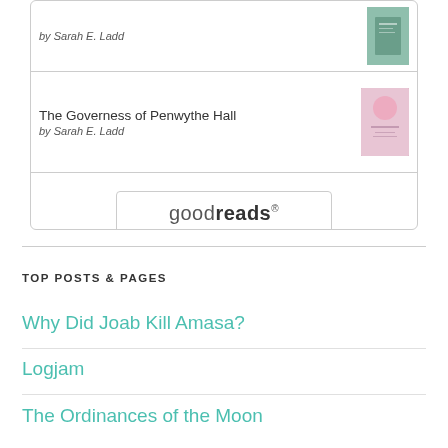The Governess of Penwythe Hall by Sarah E. Ladd
[Figure (logo): goodreads button/logo]
TOP POSTS & PAGES
Why Did Joab Kill Amasa?
Logjam
The Ordinances of the Moon